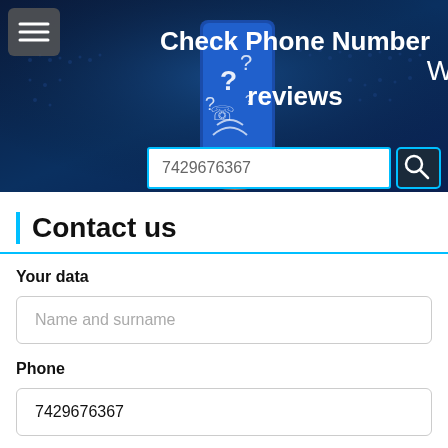[Figure (screenshot): Website header banner with dark blue background showing a world map, a hand holding a blue smartphone with question marks, text 'Check Phone Number reviews', a search input field containing '7429676367', and a search button with magnifying glass icon. A hamburger menu icon is visible top-left.]
Contact us
Your data
Name and surname
Phone
7429676367